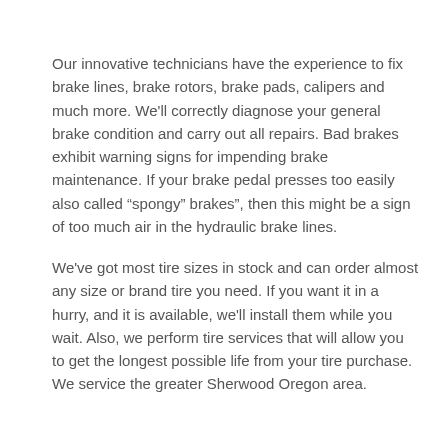Our innovative technicians have the experience to fix brake lines, brake rotors, brake pads, calipers and much more. We'll correctly diagnose your general brake condition and carry out all repairs. Bad brakes exhibit warning signs for impending brake maintenance. If your brake pedal presses too easily also called “spongy” brakes”, then this might be a sign of too much air in the hydraulic brake lines.
We've got most tire sizes in stock and can order almost any size or brand tire you need. If you want it in a hurry, and it is available, we'll install them while you wait. Also, we perform tire services that will allow you to get the longest possible life from your tire purchase. We service the greater Sherwood Oregon area.